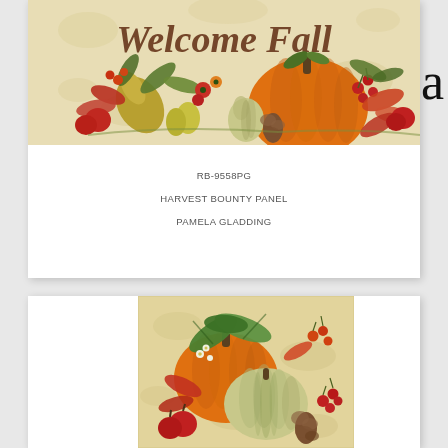[Figure (illustration): Harvest Bounty fall illustration banner showing 'Welcome Fall' text in cursive with pumpkins, gourds, autumn leaves, berries, apples, and pears on a cream/beige background with leaf motifs]
RB-9558PG
HARVEST BOUNTY PANEL
PAMELA GLADDING
[Figure (illustration): Square harvest bounty illustration showing orange and green pumpkins with autumn leaves, berries, apples, and pine cone on a cream background with leaf motifs]